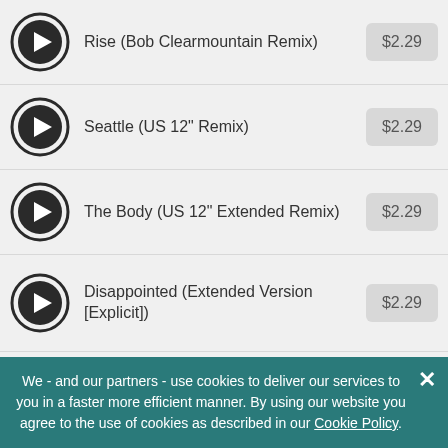Rise (Bob Clearmountain Remix) $2.29
Seattle (US 12" Remix) $2.29
The Body (US 12" Extended Remix) $2.29
Disappointed (Extended Version [Explicit]) $2.29
Happy (US 12" Remix) $2.29
Warrior (Extended Version / ...
We - and our partners - use cookies to deliver our services to you in a faster more efficient manner. By using our website you agree to the use of cookies as described in our Cookie Policy.